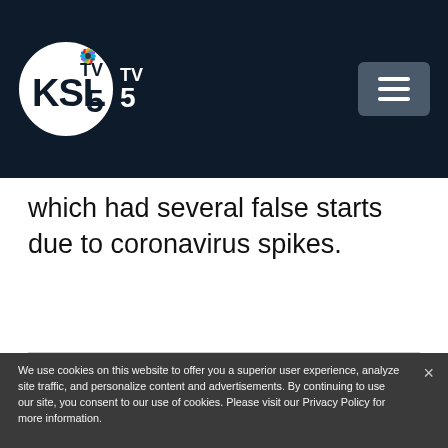[Figure (logo): KSL TV 5 NBC logo on dark navy header bar with hamburger menu button]
which had several false starts due to coronavirus spikes.
We use cookies on this website to offer you a superior user experience, analyze site traffic, and personalize content and advertisements. By continuing to use our site, you consent to our use of cookies. Please visit our Privacy Policy for more information.